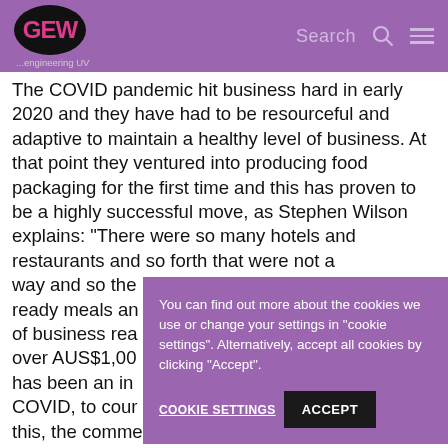GEW ...engineering UV | Search
The COVID pandemic hit business hard in early 2020 and they have had to be resourceful and adaptive to maintain a healthy level of business. At that point they ventured into producing food packaging for the first time and this has proven to be a highly successful move, as Stephen Wilson explains: “There were so many hotels and restaurants and so forth that were not a way and so the ready meals an of business rea over AUS$1,00 has been an in COVID, to cour this, the commercial print business is now steadily
You can find out more about the cookies we use or change your settings in "cookie settings". Alternatively, accept all cookies by clicking “Accept”.
COOKIE SETTINGS   ACCEPT